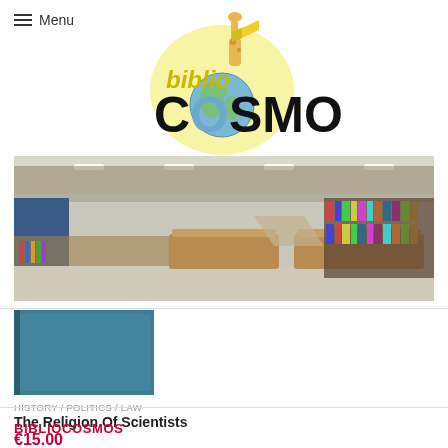Menu
[Figure (logo): BiblioCoSMOS bookstore logo with giraffe and globe illustration, yellow wordmark 'biblio' in italic and large bold 'COSMOS' text]
[Figure (photo): Interior panoramic photo of a large bookstore with shelves full of books, wooden display tables, and a mezzanine level]
[Figure (photo): Book cover thumbnail — solid teal/blue colored hardcover book]
HISTORY / POLITICS / LAW
The Religion Of Scientists
€15.00
BIBLIOCOSMOS